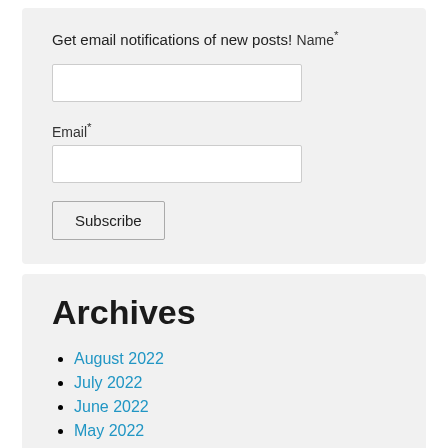Get email notifications of new posts!
Name*
Email*
Subscribe
Archives
August 2022
July 2022
June 2022
May 2022
April 2022